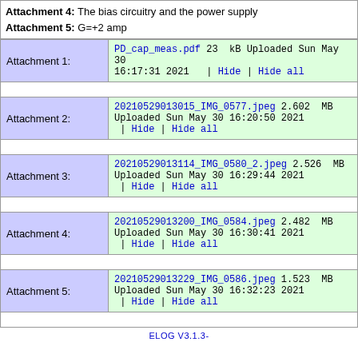Attachment 4: The bias circuitry and the power supply
Attachment 5: G=+2 amp
| Label | Content |
| --- | --- |
| Attachment 1: | PD_cap_meas.pdf 23 kB Uploaded Sun May 30 16:17:31 2021 | Hide | Hide all |
|  |  |
| Attachment 2: | 20210529013015_IMG_0577.jpeg 2.602 MB Uploaded Sun May 30 16:20:50 2021 | Hide | Hide all |
|  |  |
| Attachment 3: | 20210529013114_IMG_0580_2.jpeg 2.526 MB Uploaded Sun May 30 16:29:44 2021 | Hide | Hide all |
|  |  |
| Attachment 4: | 20210529013200_IMG_0584.jpeg 2.482 MB Uploaded Sun May 30 16:30:41 2021 | Hide | Hide all |
|  |  |
| Attachment 5: | 20210529013229_IMG_0586.jpeg 1.523 MB Uploaded Sun May 30 16:32:23 2021 | Hide | Hide all |
ELOG V3.1.3-